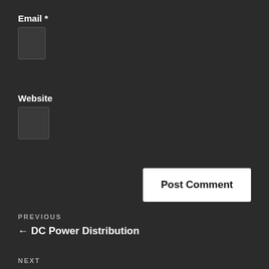Email *
Website
Post Comment
PREVIOUS
← DC Power Distribution
NEXT